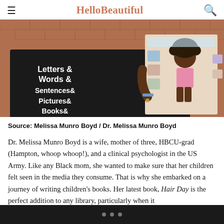HelloBeautiful
[Figure (photo): Person wearing a black t-shirt reading 'Letters & Words & Sentences & Pictures & Books&' holding up a children's book featuring an illustrated Black girl with curly hair, standing in front of a brick wall.]
Source: Melissa Munro Boyd / Dr. Melissa Munro Boyd
Dr. Melissa Munro Boyd is a wife, mother of three, HBCU-grad (Hampton, whoop whoop!), and a clinical psychologist in the US Army. Like any Black mom, she wanted to make sure that her children felt seen in the media they consume. That is why she embarked on a journey of writing children's books. Her latest book, Hair Day is the perfect addition to any library, particularly when it